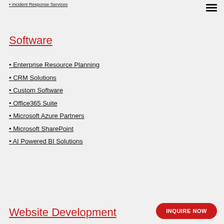• Incident Response Services
Software
• Enterprise Resource Planning
• CRM Solutions
• Custom Software
• Office365 Suite
• Microsoft Azure Partners
• Microsoft SharePoint
• AI Powered BI Solutions
Website Development
INQUIRE NOW